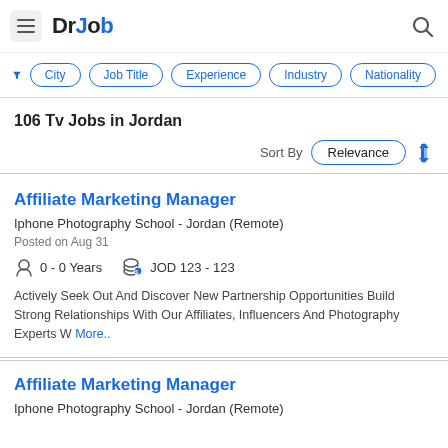DrJob
City
Job Title
Experience
Industry
Nationality
106 Tv Jobs in Jordan
Sort By Relevance
Affiliate Marketing Manager
Iphone Photography School - Jordan (Remote)
Posted on Aug 31
0 - 0 Years   JOD 123 - 123
Actively Seek Out And Discover New Partnership Opportunities Build Strong Relationships With Our Affiliates, Influencers And Photography Experts W More..
Affiliate Marketing Manager
Iphone Photography School - Jordan (Remote)